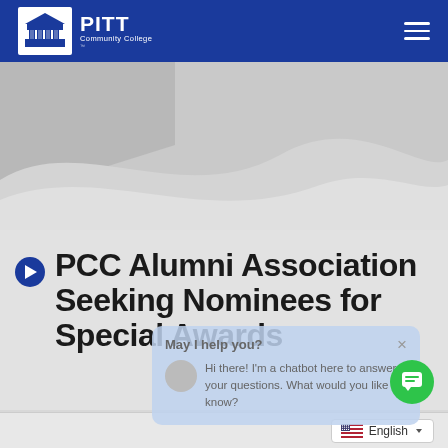PITT Community College
[Figure (illustration): Hero banner with gray wave shapes on dark gray background]
PCC Alumni Association Seeking Nominees for Special Awards
[Figure (screenshot): Chatbot popup overlay: 'May I help you?' header with X close button, chatbot avatar, and message 'Hi there! I'm a chatbot here to answer your questions. What would you like to know?']
English